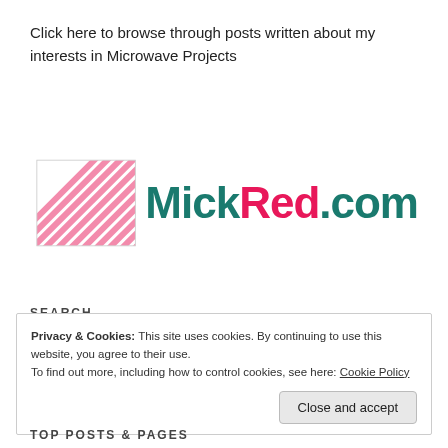Click here to browse through posts written about my interests in Microwave Projects
[Figure (logo): MickRed.com logo with a pink diagonal-striped square on the left and the text 'MickRed.com' in teal and pink bold font]
SEARCH
Privacy & Cookies: This site uses cookies. By continuing to use this website, you agree to their use.
To find out more, including how to control cookies, see here: Cookie Policy
TOP POSTS & PAGES